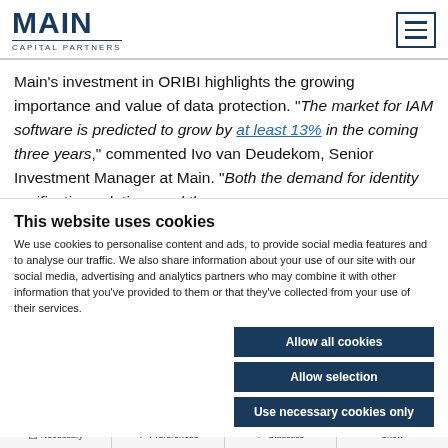MAIN CAPITAL PARTNERS
Main’s investment in ORIBI highlights the growing importance and value of data protection. “The market for IAM software is predicted to grow by at least 13% in the coming three years,” commented Ivo van Deudekom, Senior Investment Manager at Main. “Both the demand for identity verification solutions and the
This website uses cookies
We use cookies to personalise content and ads, to provide social media features and to analyse our traffic. We also share information about your use of our site with our social media, advertising and analytics partners who may combine it with other information that you’ve provided to them or that they’ve collected from your use of their services.
Allow all cookies
Allow selection
Use necessary cookies only